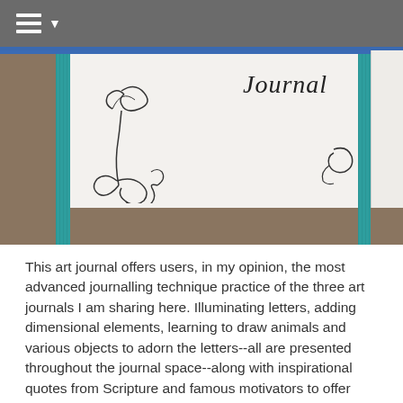≡ ▼
[Figure (photo): Close-up photo of an art journal cover showing the word 'Journal' in italic script, decorative swirl/flourish designs in the corners, and teal/turquoise ribbon binding along the left and right edges, resting on a brown textured surface.]
This art journal offers users, in my opinion, the most advanced journalling technique practice of the three art journals I am sharing here. Illuminating letters, adding dimensional elements, learning to draw animals and various objects to adorn the letters--all are presented throughout the journal space--along with inspirational quotes from Scripture and famous motivators to offer readers a lot of journal ideas in a small space!